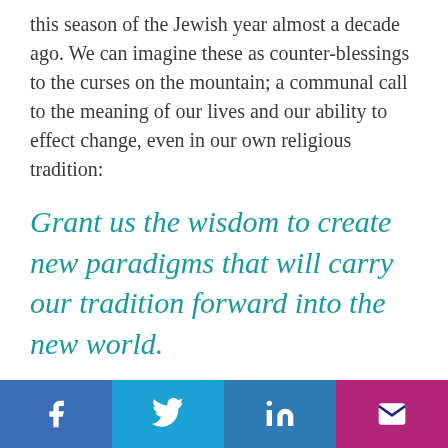this season of the Jewish year almost a decade ago. We can imagine these as counter-blessings to the curses on the mountain; a communal call to the meaning of our lives and our ability to effect change, even in our own religious tradition:
Grant us the wisdom to create new paradigms that will carry our tradition forward into the new world.
Amen!
Facebook | Twitter | LinkedIn | Email